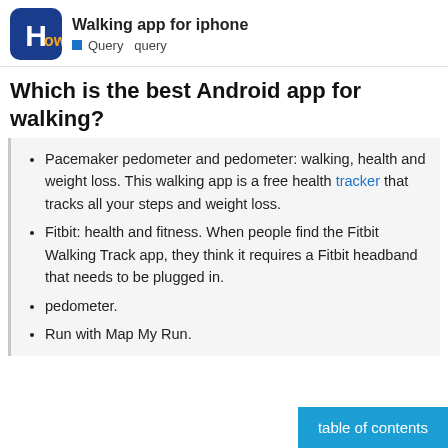Walking app for iphone
Query  query
Which is the best Android app for walking?
Pacemaker pedometer and pedometer: walking, health and weight loss. This walking app is a free health tracker that tracks all your steps and weight loss.
Fitbit: health and fitness. When people find the Fitbit Walking Track app, they think it requires a Fitbit headband that needs to be plugged in.
pedometer.
Run with Map My Run.
table of contents